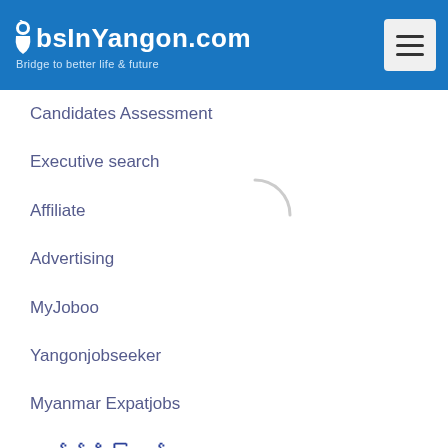JobsInYangon.com — Bridge to better life & future
Candidates Assessment
Executive search
Affiliate
Advertising
MyJoboo
Yangonjobseeker
Myanmar Expatjobs
ကျွန်ပ်တို့အကြောင်း
သတင်းများ
သီးသန့်မှုဝါဒ
အသုံးပြုပုံ စည်းမျဉ်း
ကျွန်ပ်တို့အကြောင်း
ဆက်သွယ်ရန်